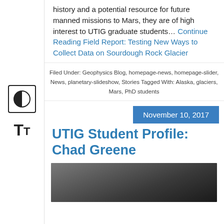history and a potential resource for future manned missions to Mars, they are of high interest to UTIG graduate students… Continue Reading Field Report: Testing New Ways to Collect Data on Sourdough Rock Glacier
Filed Under: Geophysics Blog, homepage-news, homepage-slider, News, planetary-slideshow, Stories Tagged With: Alaska, glaciers, Mars, PhD students
November 10, 2017
UTIG Student Profile: Chad Greene
[Figure (photo): Partial photo of Chad Greene, cropped at bottom of page]